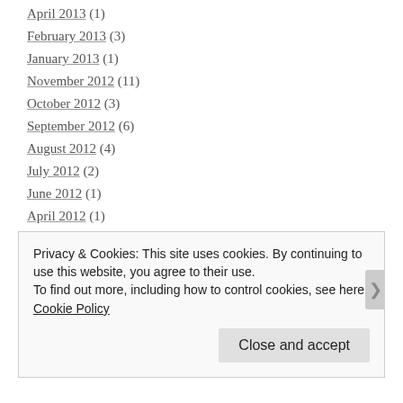April 2013 (1)
February 2013 (3)
January 2013 (1)
November 2012 (11)
October 2012 (3)
September 2012 (6)
August 2012 (4)
July 2012 (2)
June 2012 (1)
April 2012 (1)
March 2012 (3)
February 2012 (6)
January 2012 (5)
Privacy & Cookies: This site uses cookies. By continuing to use this website, you agree to their use.
To find out more, including how to control cookies, see here: Cookie Policy